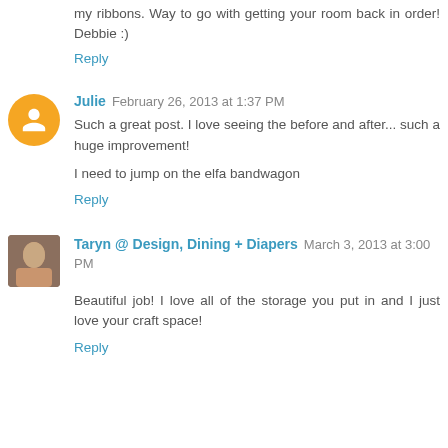my ribbons. Way to go with getting your room back in order! Debbie :)
Reply
Julie February 26, 2013 at 1:37 PM
Such a great post. I love seeing the before and after... such a huge improvement!
I need to jump on the elfa bandwagon
Reply
Taryn @ Design, Dining + Diapers March 3, 2013 at 3:00 PM
Beautiful job! I love all of the storage you put in and I just love your craft space!
Reply